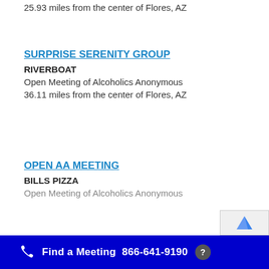25.93 miles from the center of Flores, AZ
SURPRISE SERENITY GROUP
RIVERBOAT
Open Meeting of Alcoholics Anonymous
36.11 miles from the center of Flores, AZ
OPEN AA MEETING
BILLS PIZZA
Open Meeting of Alcoholics Anonymous
Find a Meeting  866-641-9190